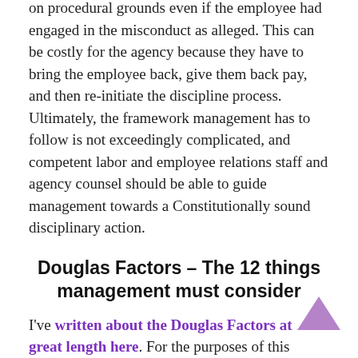on procedural grounds even if the employee had engaged in the misconduct as alleged. This can be costly for the agency because they have to bring the employee back, give them back pay, and then re-initiate the discipline process. Ultimately, the framework management has to follow is not exceedingly complicated, and competent labor and employee relations staff and agency counsel should be able to guide management towards a Constitutionally sound disciplinary action.
Douglas Factors – The 12 things management must consider
I've written about the Douglas Factors at great length here. For the purposes of this article, the Douglas Factors are another important element to any adverse action and